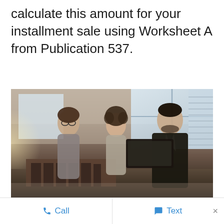calculate this amount for your installment sale using Worksheet A from Publication 537.
[Figure (photo): Three people sitting at a desk in a bright office: a woman with glasses on the left, a woman with curly hair in the middle, and a man in a dark suit on the right handing over a document or tablet. A model of a building is visible on the desk in the foreground.]
Call   Text   ×